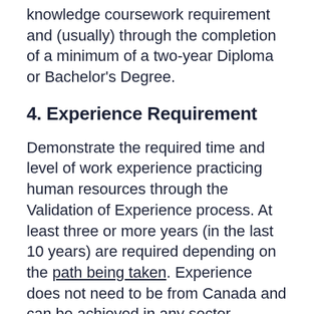knowledge coursework requirement and (usually) through the completion of a minimum of a two-year Diploma or Bachelor's Degree.
4. Experience Requirement
Demonstrate the required time and level of work experience practicing human resources through the Validation of Experience process. At least three or more years (in the last 10 years) are required depending on the path being taken. Experience does not need to be from Canada and can be achieved in any sector.